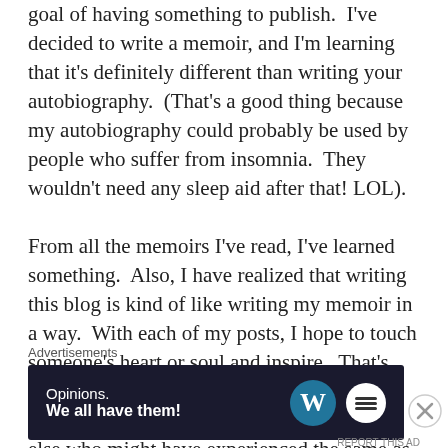goal of having something to publish.  I've decided to write a memoir, and I'm learning that it's definitely different than writing your autobiography.  (That's a good thing because my autobiography could probably be used by people who suffer from insomnia.  They wouldn't need any sleep aid after that! LOL).

From all the memoirs I've read, I've learned something.  Also, I have realized that writing this blog is kind of like writing my memoir in a way.  With each of my posts, I hope to touch someone's heart or soul and inspire.  That's why I share as much as I do in my posts.  I want to give words or comfort to someone else who might have experienced the same as me or had
Advertisements
[Figure (other): Advertisement banner with dark navy background. Left side shows text: 'Opinions.' and 'We all have them!' in white. Right side shows WordPress logo (W in circle) and a round white button logo.]